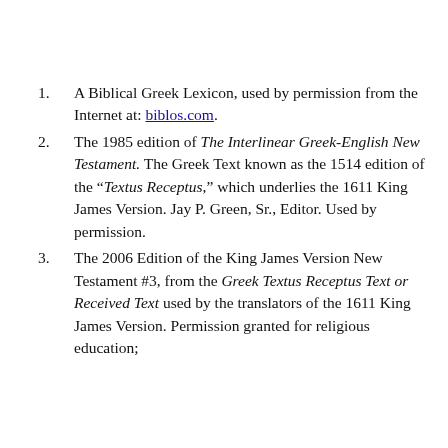A Biblical Greek Lexicon, used by permission from the Internet at: biblos.com.
The 1985 edition of The Interlinear Greek-English New Testament. The Greek Text known as the 1514 edition of the “Textus Receptus,” which underlies the 1611 King James Version. Jay P. Green, Sr., Editor. Used by permission.
The 2006 Edition of the King James Version New Testament #3, from the Greek Textus Receptus Text or Received Text used by the translators of the 1611 King James Version. Permission granted for religious education;